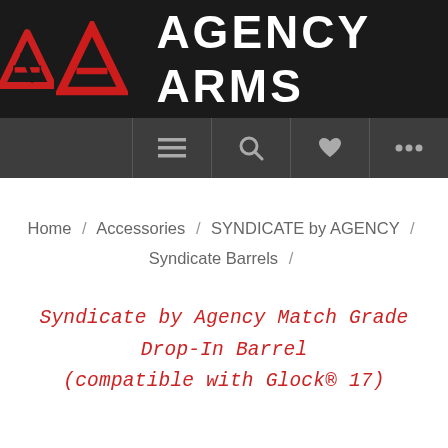[Figure (logo): Agency Arms logo — red triangular A icon followed by 'AGENCY ARMS' in white bold text on black background]
[Figure (screenshot): Navigation bar with dark grey background containing hamburger menu, search, heart/wishlist, and more icons]
Home / Accessories / SYNDICATE by AGENCY / Syndicate Barrels /
Syndicate by Agency Match Grade Drop-In Barrel (compatible with Glock® 17)